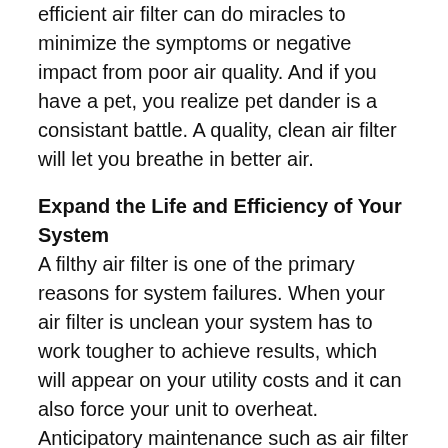efficient air filter can do miracles to minimize the symptoms or negative impact from poor air quality. And if you have a pet, you realize pet dander is a consistant battle. A quality, clean air filter will let you breathe in better air.
Expand the Life and Efficiency of Your System
A filthy air filter is one of the primary reasons for system failures. When your air filter is unclean your system has to work tougher to achieve results, which will appear on your utility costs and it can also force your unit to overheat. Anticipatory maintenance such as air filter replacement will go a long ways in ensuring that your system has a long, useful life.
It's smart to pursue your filter provider's advice on how often you should be swapping your filter. Lennox sells the highest MERV filter available, which will live up to one year reliant on circumstances in the home. If you